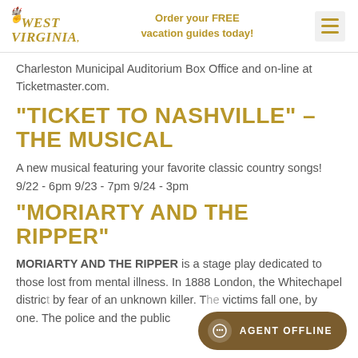West Virginia | Order your FREE vacation guides today!
Charleston Municipal Auditorium Box Office and on-line at Ticketmaster.com.
“TICKET TO NASHVILLE” – THE MUSICAL
A new musical featuring your favorite classic country songs! 9/22 - 6pm 9/23 - 7pm 9/24 - 3pm
“MORIARTY AND THE RIPPER”
MORIARTY AND THE RIPPER is a stage play dedicated to those lost from mental illness. In 1888 London, the Whitechapel district is gripped by fear of an unknown killer. The victims fall one, by one. The police and the public